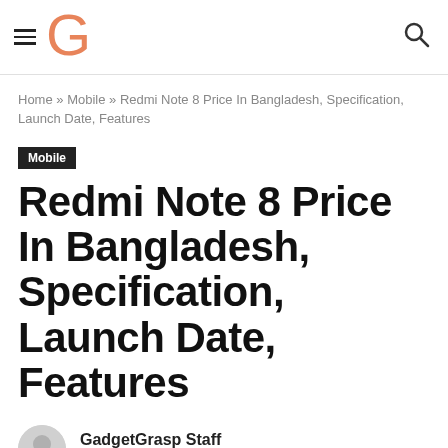GadgetGrasp — hamburger menu, G logo, search icon
Home » Mobile » Redmi Note 8 Price In Bangladesh, Specification, Launch Date, Features
Mobile
Redmi Note 8 Price In Bangladesh, Specification, Launch Date, Features
GadgetGrasp Staff
14/10/2019